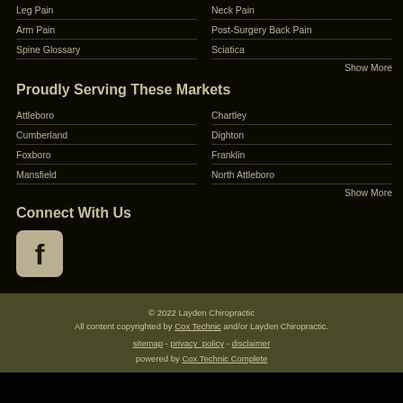Leg Pain
Neck Pain
Arm Pain
Post-Surgery Back Pain
Spine Glossary
Sciatica
Show More
Proudly Serving These Markets
Attleboro
Chartley
Cumberland
Dighton
Foxboro
Franklin
Mansfield
North Attleboro
Show More
Connect With Us
[Figure (logo): Facebook icon - rounded square with white f logo on tan/olive background]
© 2022 Layden Chiropractic
All content copyrighted by Cox Technic and/or Layden Chiropractic.
sitemap - privacy_policy - disclaimer
powered by Cox Technic Complete